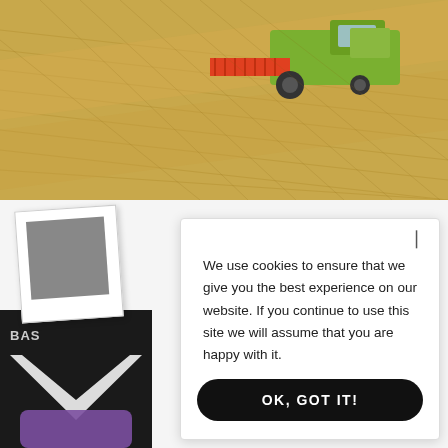[Figure (photo): Aerial view of a green combine harvester harvesting a golden wheat or grain field, with harvested rows visible.]
[Figure (photo): Polaroid-style thumbnail image placeholder showing a grey square.]
[Figure (photo): Partial view of a dark product packaging or label with 'BAS' text and a V-shaped graphic, with purple container below.]
We use cookies to ensure that we give you the best experience on our website. If you continue to use this site we will assume that you are happy with it.
OK, GOT IT!